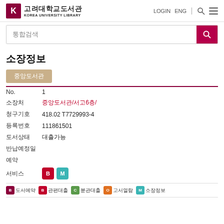고려대학교도서관 KOREA UNIVERSITY LIBRARY | LOGIN ENG
통합검색
소장정보
중앙도서관
| 항목 | 내용 |
| --- | --- |
| No. | 1 |
| 소장처 | 중앙도서관/서고6층/ |
| 청구기호 | 418.02 T7729993-4 |
| 등록번호 | 111861501 |
| 도서상태 | 대출가능 |
| 반납예정일 |  |
| 예약 |  |
| 서비스 | B M |
B 도서예약  B 관편대출  C 분관대출  O 고서열람  M 소장정보